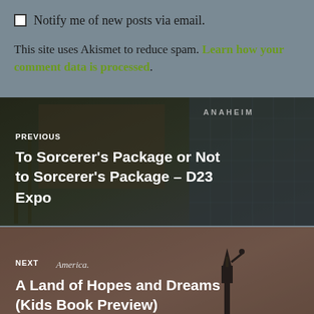☐ Notify me of new posts via email.
This site uses Akismet to reduce spam. Learn how your comment data is processed.
[Figure (photo): Navigation block with photo of D23 Expo convention center with Mickey Mouse banner, overlaid with text: PREVIOUS — To Sorcerer's Package or Not to Sorcerer's Package – D23 Expo]
[Figure (photo): Navigation block with photo of Statue of Liberty at dusk, overlaid with text: NEXT — A Land of Hopes and Dreams (Kids Book Preview)]